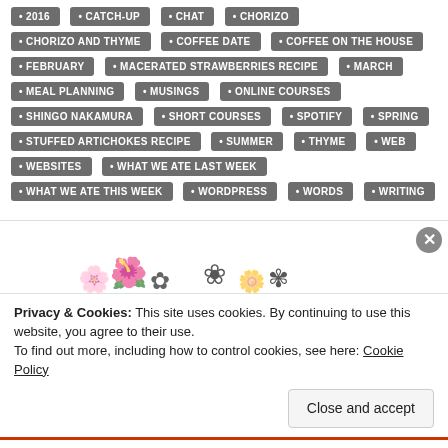2016 • CATCH-UP • CHAT • CHORIZO • CHORIZO AND THYME • COFFEE DATE • COFFEE ON THE HOUSE • FEBRUARY • MACERATED STRAWBERRIES RECIPE • MARCH • MEAL PLANNING • MUSINGS • ONLINE COURSES • SHINGO NAKAMURA • SHORT COURSES • SPOTIFY • SPRING • STUFFED ARTICHOKES RECIPE • SUMMER • THYME • WEB • WEBSITES • WHAT WE ATE LAST WEEK • WHAT WE ATE THIS WEEK • WORDPRESS • WORDS • WRITING
[Figure (illustration): Small decorative flower/insect illustrations in a row]
Privacy & Cookies: This site uses cookies. By continuing to use this website, you agree to their use.
To find out more, including how to control cookies, see here: Cookie Policy
Close and accept